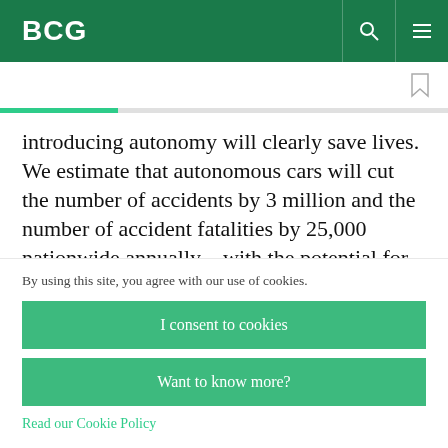BCG
introducing autonomy will clearly save lives. We estimate that autonomous cars will cut the number of accidents by 3 million and the number of accident fatalities by 25,000 nationwide annually—with the potential for even more positive impact as
By using this site, you agree with our use of cookies.
I consent to cookies
Want to know more?
Read our Cookie Policy